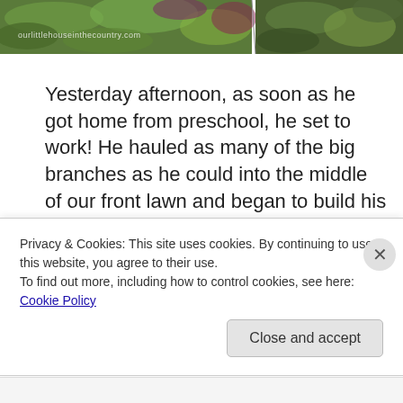[Figure (photo): Top strip showing outdoor garden/plants photo with watermark text 'ourlittlehouseinthecountry.com']
Yesterday afternoon, as soon as he got home from preschool, he set to work!  He hauled as many of the big branches as he could into the middle of our front lawn and began to build his fort.  He worked away until he was happy with his circular fort.  He then happily played in his fort for most of the afternoon.  He just amazes me
Privacy & Cookies: This site uses cookies. By continuing to use this website, you agree to their use.
To find out more, including how to control cookies, see here: Cookie Policy
Close and accept